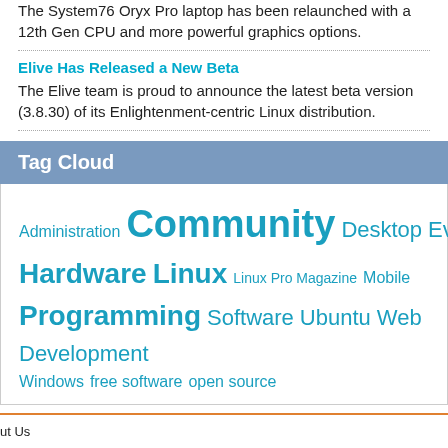The System76 Oryx Pro laptop has been relaunched with a 12th Gen CPU and more powerful graphics options.
Elive Has Released a New Beta
The Elive team is proud to announce the latest beta version (3.8.30) of its Enlightenment-centric Linux distribution.
Tag Cloud
Administration Community Desktop Events Hardware Linux Linux Pro Magazine Mobile Programming Software Ubuntu Web Development Windows free software open source
ut Us
e for Us
ntact
al Notice
acy Policy
age Subscription
Glossary   © 2022 Linux New Media USA, LLC